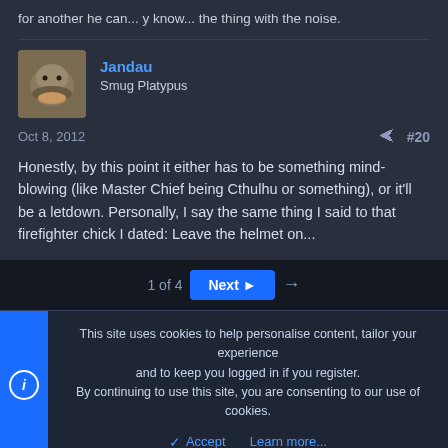for another he can... y know... the thing with the noise.
[Figure (photo): User avatar showing a platypus photo]
Jandau
Smug Platypus
Oct 8, 2012
#20
Honestly, by this point it either has to be something mind-blowing (like Master Chief being Cthulhu or something), or it'll be a letdown. Personally, I say the same thing I said to that firefighter chick I dated: Leave the helmet on...
1 of 4
Next ▶
This site uses cookies to help personalise content, tailor your experience and to keep you logged in if you register.
By continuing to use this site, you are consenting to our use of cookies.
Accept
Learn more...